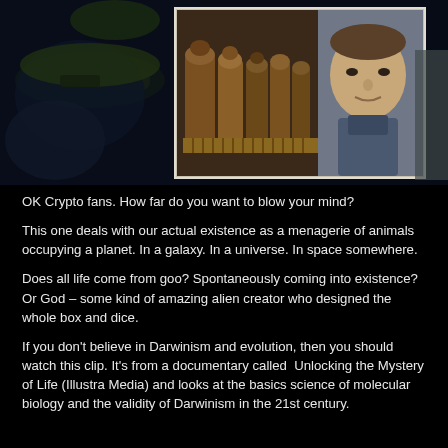[Figure (screenshot): A screenshot showing a dark blue-toned background image with a submarine/airship shape on the left, overlaid with a lighter inset screenshot of Egyptian canopic jars/artifacts and a man's face visible on the right side of the inset.]
OK Crypto fans. How far do you want to blow your mind?
This one deals with our actual existence as a menagerie of animals occupying a planet. In a galaxy. In a universe. In space somewhere.
Does all life come from goo? Spontaneously coming into existence? Or God – some kind of amazing alien creator who designed the whole box and dice.
If you don't believe in Darwinism and evolution, then you should watch this clip. It's from a documentary called  Unlocking the Mystery of Life (Illustra Media) and looks at the basics science of molecular biology and the validity of Darwinism in the 21st century.